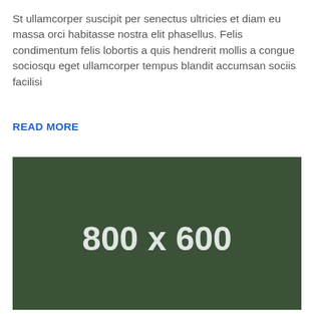St ullamcorper suscipit per senectus ultricies et diam eu massa orci habitasse nostra elit phasellus. Felis condimentum felis lobortis a quis hendrerit mollis a congue sociosqu eget ullamcorper tempus blandit accumsan sociis facilisi
READ MORE
[Figure (other): Dark green placeholder image block with white bold text reading '800 x 600' centered in the image]